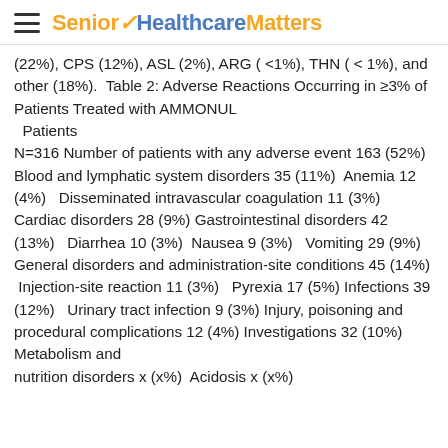Senior Healthcare Matters
(22%), CPS (12%), ASL (2%), ARG (<1%), THN (<1%), and other (18%). Table 2: Adverse Reactions Occurring in ≥3% of Patients Treated with AMMONUL   Patients N=316 Number of patients with any adverse event 163 (52%) Blood and lymphatic system disorders 35 (11%)  Anemia 12 (4%)   Disseminated intravascular coagulation 11 (3%) Cardiac disorders 28 (9%) Gastrointestinal disorders 42 (13%)   Diarrhea 10 (3%)  Nausea 9 (3%)   Vomiting 29 (9%) General disorders and administration-site conditions 45 (14%)  Injection-site reaction 11 (3%)   Pyrexia 17 (5%) Infections 39 (12%)   Urinary tract infection 9 (3%) Injury, poisoning and procedural complications 12 (4%) Investigations 32 (10%) Metabolism and nutrition disorders 4x (x%) Acidosis 4 (x%)